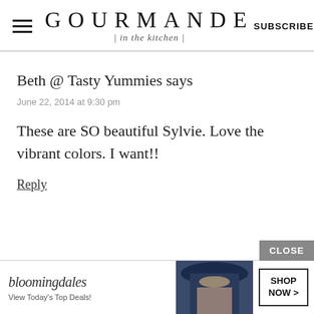GOURMANDE in the kitchen | SUBSCRIBE
Beth @ Tasty Yummies says
June 22, 2014 at 9:30 pm
These are SO beautiful Sylvie. Love the vibrant colors. I want!!
Reply
[Figure (screenshot): Bloomingdale's advertisement banner: 'bloomingdales View Today's Top Deals!' with a woman in a hat and SHOP NOW > button]
CLOSE